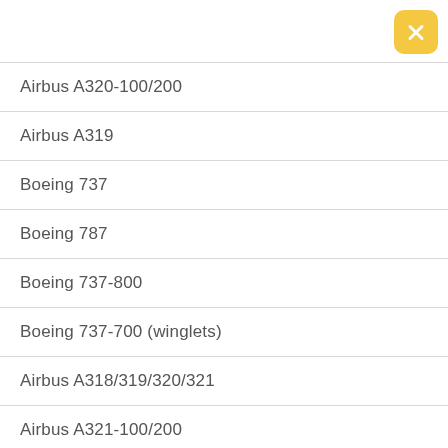[Figure (other): Yellow rounded close button with white X in top-right corner]
Airbus A320-100/200
Airbus A319
Boeing 737
Boeing 787
Boeing 737-800
Boeing 737-700 (winglets)
Airbus A318/319/320/321
Airbus A321-100/200
Airbus A320 (sharklets)
Airbus A220-300